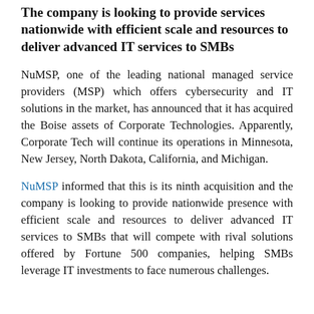The company is looking to provide services nationwide with efficient scale and resources to deliver advanced IT services to SMBs
NuMSP, one of the leading national managed service providers (MSP) which offers cybersecurity and IT solutions in the market, has announced that it has acquired the Boise assets of Corporate Technologies. Apparently, Corporate Tech will continue its operations in Minnesota, New Jersey, North Dakota, California, and Michigan.
NuMSP informed that this is its ninth acquisition and the company is looking to provide nationwide presence with efficient scale and resources to deliver advanced IT services to SMBs that will compete with rival solutions offered by Fortune 500 companies, helping SMBs leverage IT investments to face numerous challenges.